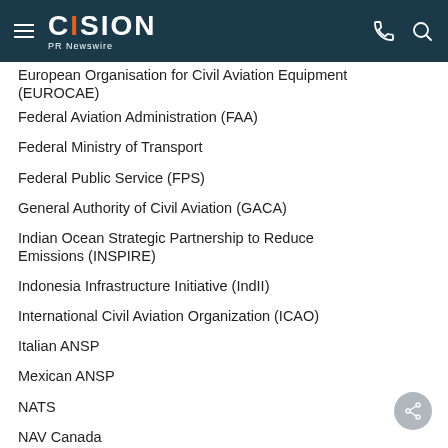CISION PR Newswire
European Organisation for Civil Aviation Equipment (EUROCAE)
Federal Aviation Administration (FAA)
Federal Ministry of Transport
Federal Public Service (FPS)
General Authority of Civil Aviation (GACA)
Indian Ocean Strategic Partnership to Reduce Emissions (INSPIRE)
Indonesia Infrastructure Initiative (IndII)
International Civil Aviation Organization (ICAO)
Italian ANSP
Mexican ANSP
NATS
NAV Canada